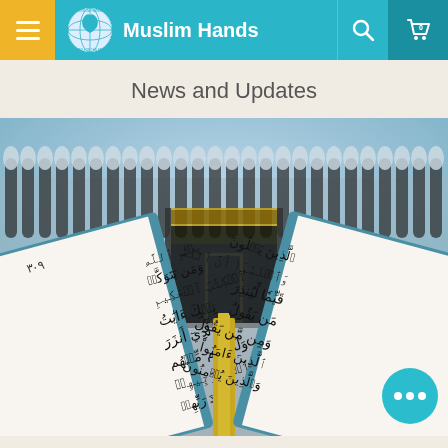Muslim Hands — navigation bar with hamburger menu, logo, search, and cart
News and Updates
[Figure (photo): An open Quran with Arabic text in the foreground, with the Kaaba in Mecca visible in the blurred background. A live chat bubble icon appears in the bottom right corner.]